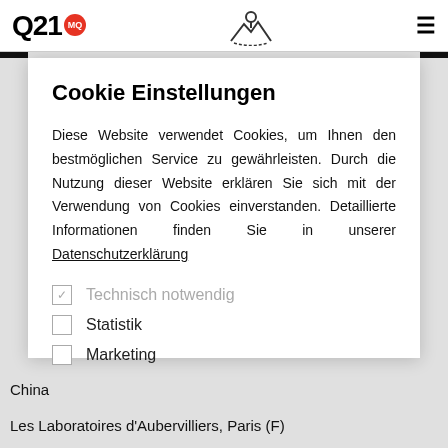Q21 MQ
Cookie Einstellungen
Diese Website verwendet Cookies, um Ihnen den bestmöglichen Service zu gewährleisten. Durch die Nutzung dieser Website erklären Sie sich mit der Verwendung von Cookies einverstanden. Detaillierte Informationen finden Sie in unserer Datenschutzerklärung
Technisch notwendig
Statistik
Marketing
China
Les Laboratoires d'Aubervilliers, Paris (F)